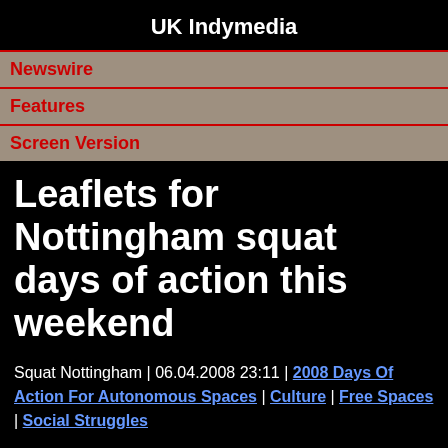UK Indymedia
Newswire
Features
Screen Version
Leaflets for Nottingham squat days of action this weekend
Squat Nottingham | 06.04.2008 23:11 | 2008 Days Of Action For Autonomous Spaces | Culture | Free Spaces | Social Struggles
This weekend a temporary squatted space will be opened up in the centre of Nottingham, hosting two days of food, workshops, films, discussion, zines, free jumble stalls and partying.